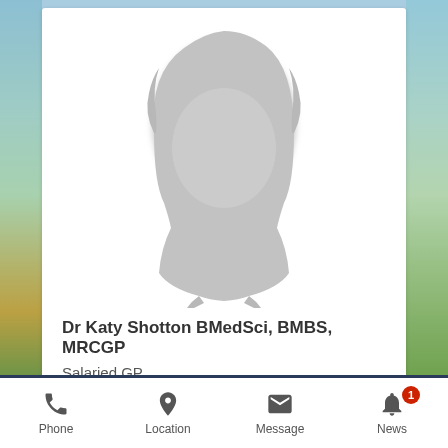[Figure (photo): Generic placeholder silhouette of a person (head and shoulders, gray on white background)]
Dr Katy Shotton BMedSci, BMBS, MRCGP
Salaried GP
Phone  Location  Message  News